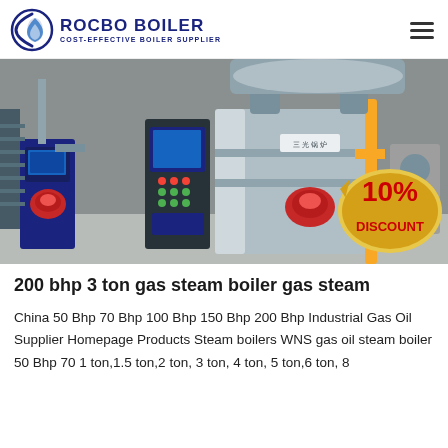ROCBO BOILER — COST-EFFECTIVE BOILER SUPPLIER
[Figure (photo): Industrial gas steam boilers in a factory setting with red burner heads, control panels, yellow pipes, and a 10% DISCOUNT badge overlay]
200 bhp 3 ton gas steam boiler gas steam
China 50 Bhp 70 Bhp 100 Bhp 150 Bhp 200 Bhp Industrial Gas Oil Supplier Homepage Products Steam boilers WNS gas oil steam boiler 50 Bhp 70 1 ton,1.5 ton,2 ton, 3 ton, 4 ton, 5 ton,6 ton, 8